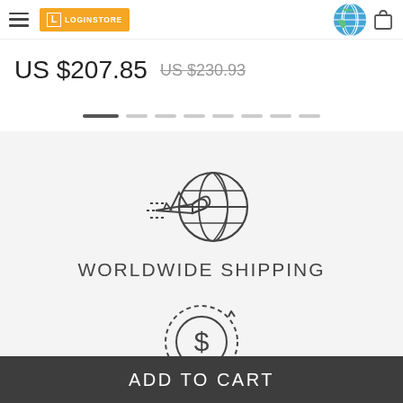LOGINSTORE header with hamburger menu, logo, globe icon, cart icon
US $207.85  US $230.93
[Figure (other): Pagination dots — one dark active dot and seven lighter inactive dots]
[Figure (other): Worldwide shipping icon: airplane flying through a globe grid, outline style]
WORLDWIDE SHIPPING
[Figure (other): Money-back / refund icon: dollar sign coin with circular dotted arrow, outline style]
ADD TO CART